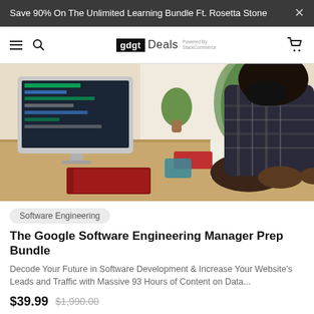Save 90% On The Unlimited Learning Bundle Ft. Rosetta Stone
[Figure (screenshot): gdgt Deals website navigation bar with hamburger menu, search icon, gdgt Deals logo powered by StackCommerce, and cart icon]
[Figure (photo): A person with a beard wearing a plaid shirt typing on a keyboard at a wooden desk with an iMac showing code, a calculator, notebook, plant, and red book]
Software Engineering
The Google Software Engineering Manager Prep Bundle
Decode Your Future in Software Development & Increase Your Website's Leads and Traffic with Massive 93 Hours of Content on Data...
$39.99  $1,990.00